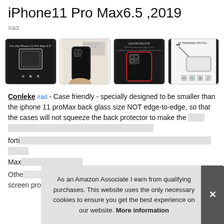iPhone11 Pro Max6.5 ,2019
#ad
[Figure (photo): Four product thumbnail images of iPhone 11 Pro Max back glass screen protector: product on black background, phone held in hand, phone back view, and installation demonstration]
Conleke #ad - Case friendly - specially designed to be smaller than the iphone 11 proMax back glass size NOT edge-to-edge, so that the cases will not squeeze the back protector to make the glass crack back. Smooth surface manufactured with forti... Max...
Othe... screen protector, or even wrongly placed orders, you are
As an Amazon Associate I earn from qualifying purchases. This website uses the only necessary cookies to ensure you get the best experience on our website. More information